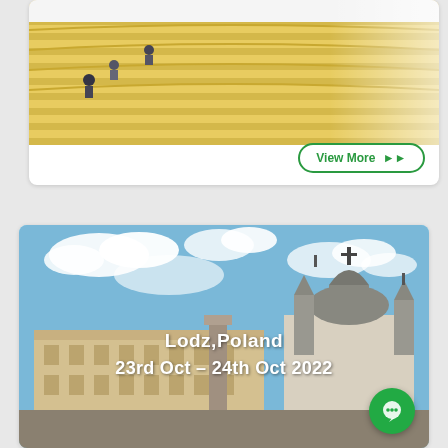[Figure (photo): Top card showing an outdoor amphitheatre or stepped seating area with people, yellow/golden tones, partially visible]
View More ▶▶
[Figure (photo): City square in Lodz, Poland showing historic buildings including a large church with dome and spires, classic European architecture under a blue sky with clouds]
Lodz,Poland
23rd Oct – 24th Oct 2022